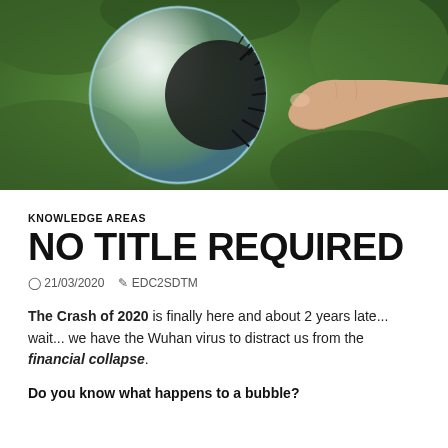[Figure (photo): A hand finger pointing at a large soap bubble against a green blurred background]
KNOWLEDGE AREAS
NO TITLE REQUIRED
21/03/2020  EDC2SDTM
The Crash of 2020 is finally here and about 2 years late... wait... we have the Wuhan virus to distract us from the financial collapse.
Do you know what happens to a bubble?